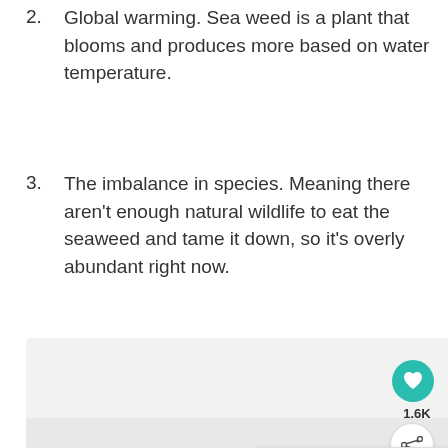2. Global warming. Sea weed is a plant that blooms and produces more based on water temperature.
3. The imbalance in species. Meaning there aren't enough natural wildlife to eat the seaweed and tame it down, so it's overly abundant right now.
[Figure (screenshot): UI overlay elements: heart/like button with 1.6K count, share button, 'What's Next' card showing '21 Best Things to D...' with a beach thumbnail, navigation dots]